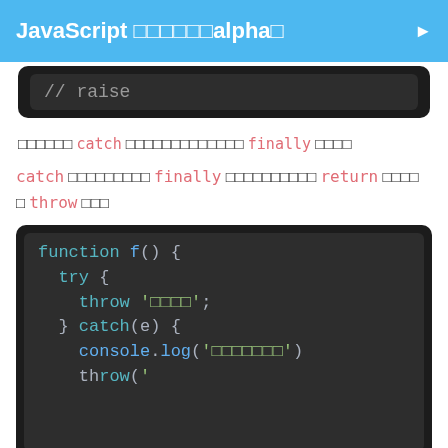JavaScript □□□□□□alpha□
[Figure (screenshot): Dark code block showing '// raise' comment in gray monospace]
□□□□□□ catch □□□□□□□□□□□□□ finally □□□□
catch □□□□□□□□□ finally □□□□□□□□□□ return □□□□□ throw □□□
[Figure (screenshot): Dark code block showing JavaScript function f() with try/catch/finally, throw '□□□□', catch(e), console.log('□□□□□□□')]